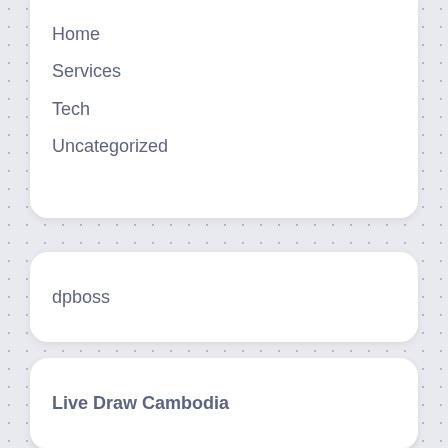Home
Services
Tech
Uncategorized
dpboss
Bandar togel online
Live Draw Cambodia